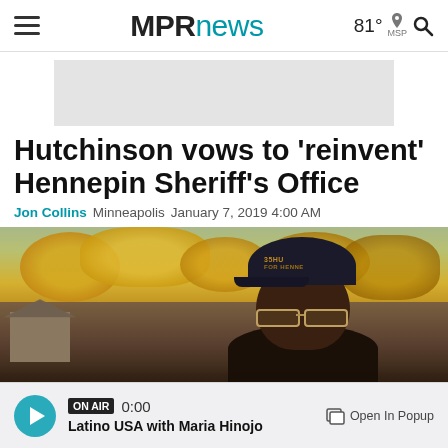MPRnews  81° MSP
[Figure (other): Advertisement placeholder banner, light gray rectangle]
Hutchinson vows to 'reinvent' Hennepin Sheriff's Office
Jon Collins  Minneapolis  January 7, 2019 4:00 AM
[Figure (photo): Outdoor photo of a man wearing a dark cap with text '35HU FOR HENNE...' and glasses, standing outdoors with autumn yellow-leaved trees and a house in the background]
ON AIR 0:00 Latino USA with Maria Hinojo  Open In Popup